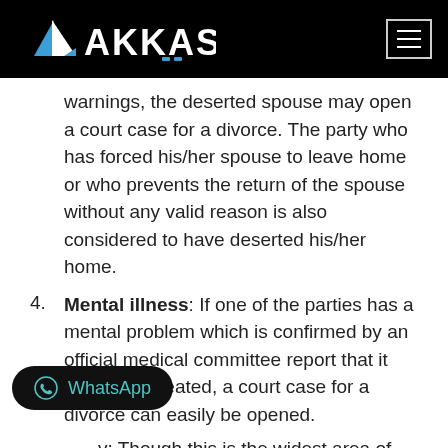AKKAS
warnings, the deserted spouse may open a court case for a divorce. The party who has forced his/her spouse to leave home or who prevents the return of the spouse without any valid reason is also considered to have deserted his/her home.
4. Mental illness: If one of the parties has a mental problem which is confirmed by an official medical committee report that it cannot be treated, a court case for a divorce can easily be opened.
5. [partially obscured by WhatsApp button]: Though this is the widest area of grounds for opening divorce cases.